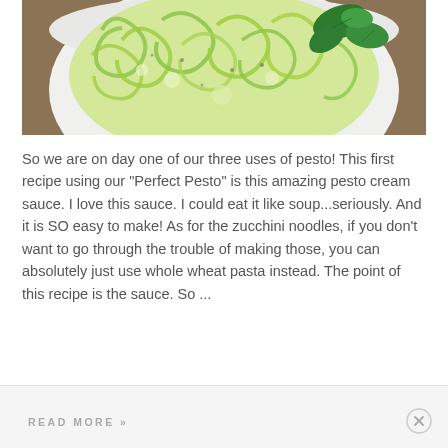[Figure (photo): A white bowl containing spiralized zucchini noodles in a creamy pesto sauce, topped with fresh basil leaves, viewed from above on a wooden surface.]
So we are on day one of our three uses of pesto! This first recipe using our "Perfect Pesto" is this amazing pesto cream sauce. I love this sauce. I could eat it like soup...seriously. And it is SO easy to make! As for the zucchini noodles, if you don't want to go through the trouble of making those, you can absolutely just use whole wheat pasta instead. The point of this recipe is the sauce. So ...
READ MORE »